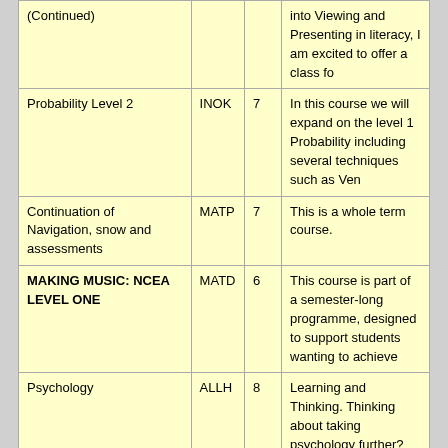| (Continued) |  |  | into Viewing and Presenting in literacy, I am excited to offer a class fo |
| Probability Level 2 | INOK | 7 | In this course we will expand on the level 1 Probability including several techniques such as Ven |
| Continuation of Navigation, snow and assessments | MATP | 7 | This is a whole term course. |
| MAKING MUSIC: NCEA LEVEL ONE | MATD | 6 | This course is part of a semester-long programme, designed to support students wanting to achieve |
| Psychology | ALLH | 8 | Learning and Thinking. Thinking about taking psychology further? |